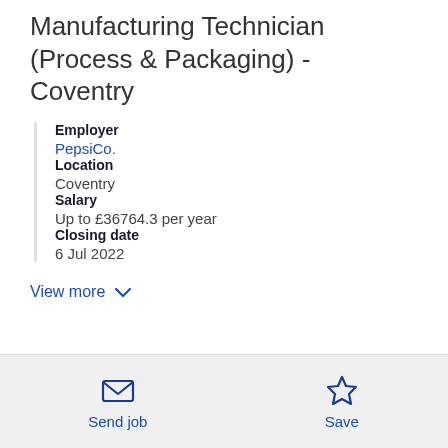Manufacturing Technician (Process & Packaging) - Coventry
Employer
PepsiCo.
Location
Coventry
Salary
Up to £36764.3 per year
Closing date
6 Jul 2022
View more
Send job
Save